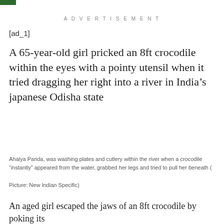ADVERTISEMENT
[ad_1]
A 65-year-old girl pricked an 8ft crocodile within the eyes with a pointy utensil when it tried dragging her right into a river in India’s japanese Odisha state
Ahalya Parida, was washing plates and cutlery within the river when a crocodile “instantly” appeared from the water, grabbed her legs and tried to pull her beneath (
Picture: New Indian Specific)
An aged girl escaped the jaws of an 8ft crocodile by poking its eyes when it tried to pull her right into a river.